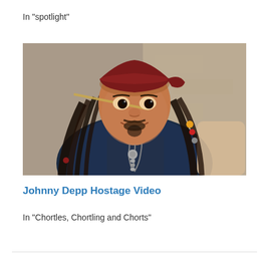In "spotlight"
[Figure (photo): A man dressed as a pirate (resembling Captain Jack Sparrow from Pirates of the Caribbean), wearing a dark red bandana, dreadlocks with beads, a goatee, dark vest, smiling at camera with stone wall in background.]
Johnny Depp Hostage Video
In "Chortles, Chortling and Chorts"